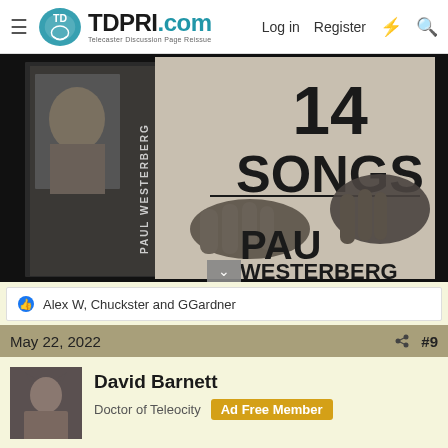TDPRI.com — Telecaster Discussion Page Reissue | Log in | Register
[Figure (photo): Black and white photo of Paul Westerberg '14 Songs' album cover being held, showing the album spine text 'PAUL WESTERBERG' and front cover text '14 SONGS' and 'PAUL WESTERBERG']
Alex W, Chuckster and GGardner
May 22, 2022   #9
David Barnett
Doctor of Teleocity   Ad Free Member